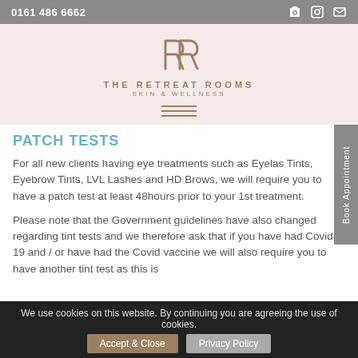0161 486 6662
[Figure (logo): The Retreat Rooms Skin & Wellness logo with stylized R icon and hamburger menu below]
PATCH TESTS
For all new clients having eye treatments such as Eyelash Tints, Eyebrow Tints, LVL Lashes and HD Brows, we will require you to have a patch test at least 48hours prior to your 1st treatment.
Please note that the Government guidelines have also changed regarding tint tests and we therefore ask that if you have had Covid-19 and / or have had the Covid vaccine we will also require you to have another tint test as this is
We use cookies on this website. By continuing you are agreeing the use of cookies. Accept & Close  Privacy Policy